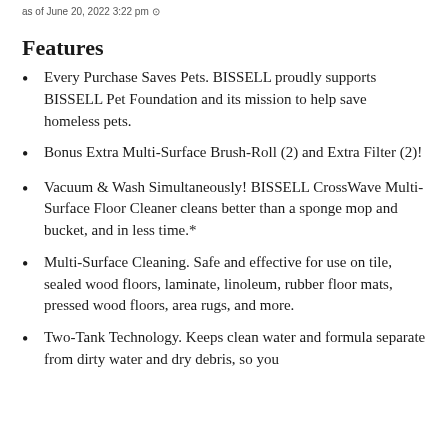as of June 20, 2022 3:22 pm
Features
Every Purchase Saves Pets. BISSELL proudly supports BISSELL Pet Foundation and its mission to help save homeless pets.
Bonus Extra Multi-Surface Brush-Roll (2) and Extra Filter (2)!
Vacuum & Wash Simultaneously! BISSELL CrossWave Multi-Surface Floor Cleaner cleans better than a sponge mop and bucket, and in less time.*
Multi-Surface Cleaning. Safe and effective for use on tile, sealed wood floors, laminate, linoleum, rubber floor mats, pressed wood floors, area rugs, and more.
Two-Tank Technology. Keeps clean water and formula separate from dirty water and dry debris, so you